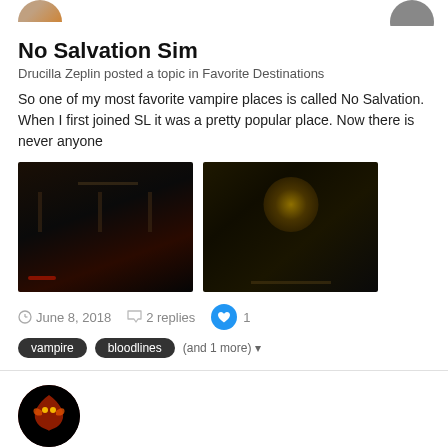[Figure (illustration): Partial avatar icon at top left (cropped circle, dark)]
[Figure (illustration): Partial avatar icon at top right (dark circle)]
No Salvation Sim
Drucilla Zeplin posted a topic in Favorite Destinations
So one of my most favorite vampire places is called No Salvation. When I first joined SL it was a pretty popular place. Now there is never anyone
[Figure (photo): Two dark interior screenshots of a vampire sim location]
June 8, 2018   2 replies   1
vampire
bloodlines
(and 1 more)
[Figure (illustration): Round avatar with red dragon emblem on dark background]
[Figure (illustration): Chat bubble icon in dark circle at bottom right]
1/4 sim 5000 prims ONLY 3999L$ weekly!Price Locked!!
Zarin Magic posted a topic in Private Island